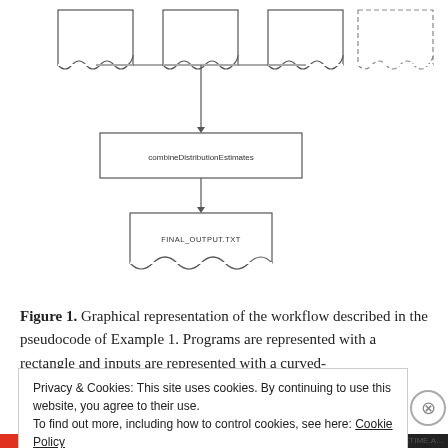[Figure (flowchart): Flowchart showing workflow with wavy-bottom boxes at top connected by lines to a rectangle labeled 'combineDistributionEstimates', then an arrow down to a wavy document shape labeled 'FINAL_OUTPUT.TXT'. The top row includes four wavy-bottomed boxes (one dashed outline) and a dashed rectangle.]
Figure 1. Graphical representation of the workflow described in the pseudocode of Example 1. Programs are represented with a rectangle and inputs are represented with a curved-